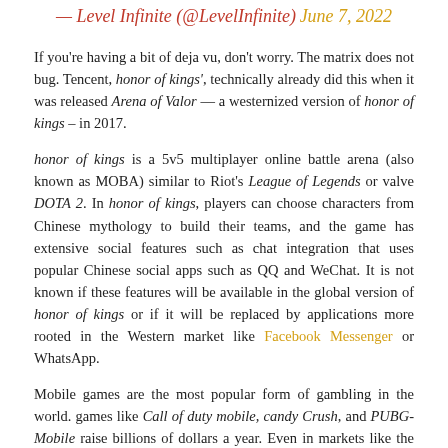— Level Infinite (@LevelInfinite) June 7, 2022
If you're having a bit of deja vu, don't worry. The matrix does not bug. Tencent, honor of kings', technically already did this when it was released Arena of Valor — a westernized version of honor of kings – in 2017.
honor of kings is a 5v5 multiplayer online battle arena (also known as MOBA) similar to Riot's League of Legends or valve DOTA 2. In honor of kings, players can choose characters from Chinese mythology to build their teams, and the game has extensive social features such as chat integration that uses popular Chinese social apps such as QQ and WeChat. It is not known if these features will be available in the global version of honor of kings or if it will be replaced by applications more rooted in the Western market like Facebook Messenger or WhatsApp.
Mobile games are the most popular form of gambling in the world. games like Call of duty mobile, candy Crush, and PUBG-Mobile raise billions of dollars a year. Even in markets like the US and Europe, where there is an